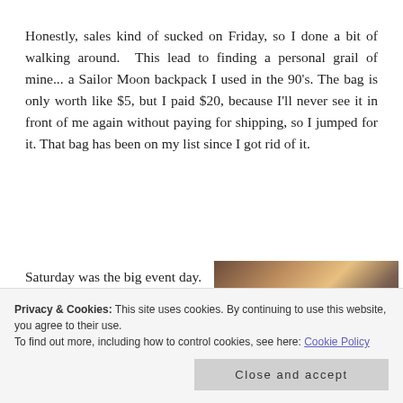Honestly, sales kind of sucked on Friday, so I done a bit of walking around.  This lead to finding a personal grail of mine... a Sailor Moon backpack I used in the 90's. The bag is only worth like $5, but I paid $20, because I'll never see it in front of me again without paying for shipping, so I jumped for it. That bag has been on my list since I got rid of it.
Saturday was the big event day.  Sales
[Figure (photo): Photo of items on a table at what appears to be a sale or market event, showing various merchandise with warm brown and golden tones.]
now, mediums, and
[Figure (photo): Photo showing colorful items, appears to be merchandise with purple and pink tones.]
Privacy & Cookies: This site uses cookies. By continuing to use this website, you agree to their use.
To find out more, including how to control cookies, see here: Cookie Policy
Close and accept